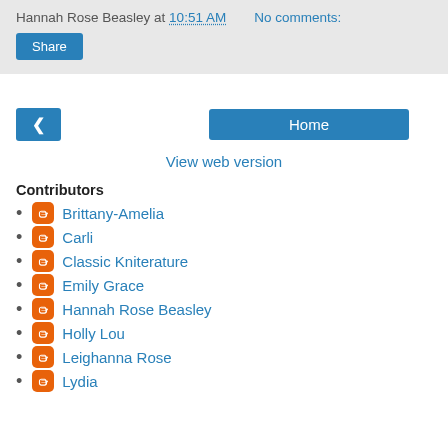Hannah Rose Beasley at 10:51 AM    No comments:
Share
[Figure (screenshot): Navigation buttons: left arrow back button and Home button]
View web version
Contributors
Brittany-Amelia
Carli
Classic Kniterature
Emily Grace
Hannah Rose Beasley
Holly Lou
Leighanna Rose
Lydia